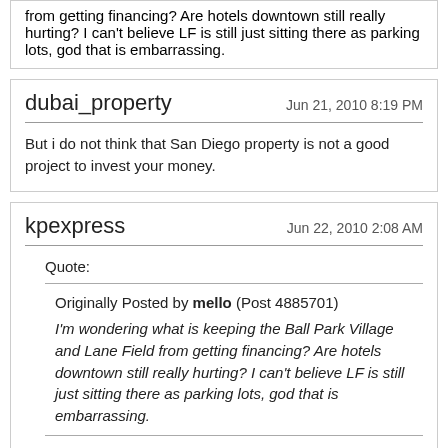from getting financing? Are hotels downtown still really hurting? I can't believe LF is still just sitting there as parking lots, god that is embarrassing.
dubai_property — Jun 21, 2010 8:19 PM
But i do not think that San Diego property is not a good project to invest your money.
kpexpress — Jun 22, 2010 2:08 AM
Quote:
Originally Posted by mello (Post 4885701)
I'm wondering what is keeping the Ball Park Village and Lane Field from getting financing? Are hotels downtown still really hurting? I can't believe LF is still just sitting there as parking lots, god that is embarrassing.
The people at CCDC say that banks aren't lending on hotel projects due to the recent collapse of that market (W, and The Se San Diego both went back to the banks within the last year). ouch.
bronty